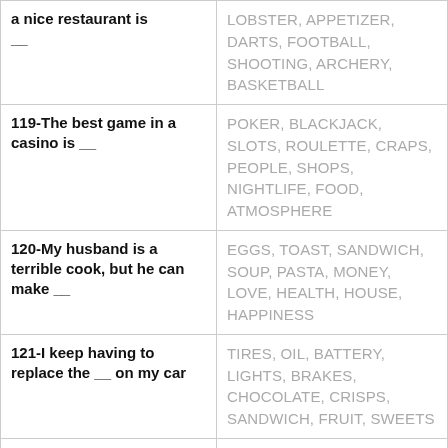| Question | Answers |
| --- | --- |
| a nice restaurant is __ | LOBSTER, APPETIZER, DARTS, FOOTBALL, SHOOTING, ARCHERY, BASKETBALL |
| 119-The best game in a casino is __ | POKER, BLACKJACK, SLOTS, ROULETTE, CRAPS, PEOPLE, SHOPS, NIGHTLIFE, FOOD, ATMOSPHERE |
| 120-My husband is a terrible cook, but he can make __ | EGGS, TOAST, SANDWICH, SOUP, PASTA, MONEY, LOVE, HEALTH, HOUSE, HAPPINESS |
| 121-I keep having to replace the __ on my car | TIRES, OIL, BATTERY, LIGHTS, BRAKES, CHOCOLATE, CRISPS, SANDWICH, FRUIT, SWEETS |
| 122-We use the same __ every year for Christmas | TREE, DECORATIONS, LIGHTS, STOCKINGS, RECIPES, SLEEP, EAT, SING, DANCE, CRY |
| 123-I don't have a car, so I get to work on __ | BIKE, BUS, TRAIN, SCOOTER, FOOT, TEDDY, TOY, GOLDFISH, |